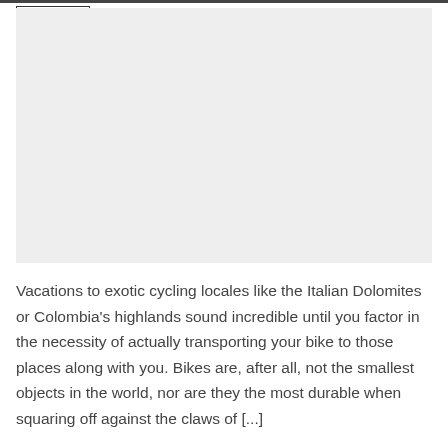25 Mar
[Figure (photo): Large image placeholder with light grey background]
Vacations to exotic cycling locales like the Italian Dolomites or Colombia's highlands sound incredible until you factor in the necessity of actually transporting your bike to those places along with you. Bikes are, after all, not the smallest objects in the world, nor are they the most durable when squaring off against the claws of [...]